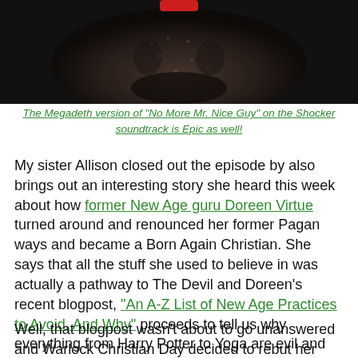[Figure (photo): Close-up dark image of a person's face, sweating, dimly lit with a red element visible at top center]
The Megadeth version of "No More Mr. Nice Guy" on the Shocker soundtrack is Epic as well!
My sister Allison closed out the episode by also brings out an interesting story she heard this week about how former New Age guru Doreen Virtue turned around and renounced her former Pagan ways and became a Born Again Christian. She says that all the stuff she used to believe in was actually a pathway to The Devil and Doreen's recent blogpost, "An A-Z List of New Age Practices to Avoid, And Why" proceeds to tell us why everything from Harry Potter to Yoga are evil and anti-Christian.
Well, that blogpost wasn't about to go unanswered and Warlock Christian Day decided to rebut her alphabetical